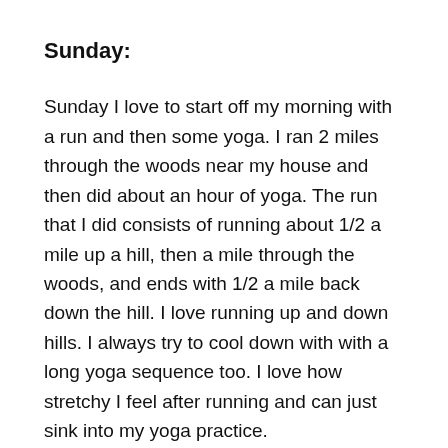Sunday:
Sunday I love to start off my morning with a run and then some yoga. I ran 2 miles through the woods near my house and then did about an hour of yoga. The run that I did consists of running about 1/2 a mile up a hill, then a mile through the woods, and ends with 1/2 a mile back down the hill. I love running up and down hills. I always try to cool down with with a long yoga sequence too. I love how stretchy I feel after running and can just sink into my yoga practice.
Sunday afternoon I went on a nice and easy 7 mile bike ride with my mom and sister. It was fun to just be it and enjoying the ride and beautiful